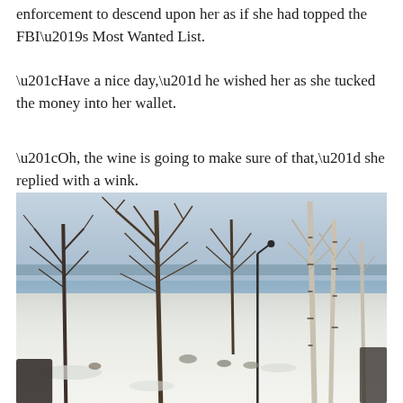enforcement to descend upon her as if she had topped the FBI’s Most Wanted List.
“Have a nice day,” he wished her as she tucked the money into her wallet.
“Oh, the wine is going to make sure of that,” she replied with a wink.
[Figure (photo): Winter landscape photograph showing bare deciduous trees and birch trees against a grey sky, with a snow-covered ground, a lamp post in the middle distance, and a frozen or snow-covered body of water or open area in the background.]